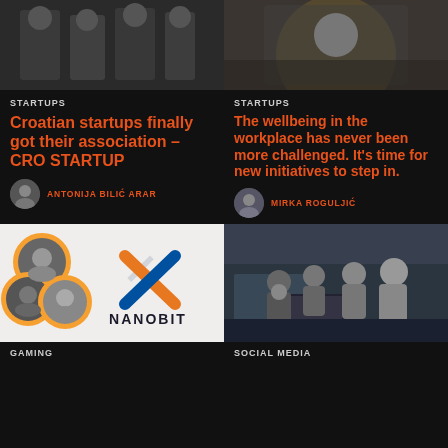[Figure (photo): Group of people standing in a hallway/office setting]
[Figure (photo): Woman in yellow jacket holding a tablet]
STARTUPS
Croatian startups finally got their association – CRO STARTUP
ANTONIJA BILIĆ ARAR
STARTUPS
The wellbeing in the workplace has never been more challenged. It's time for new initiatives to step in.
MIRKA ROGULJIĆ
[Figure (photo): Three people portraits with Nanobit logo – gaming company promotional image]
[Figure (photo): Group of people gathered around a computer in an office]
GAMING
SOCIAL MEDIA